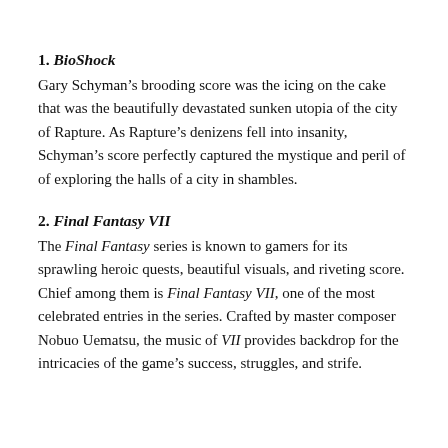1. BioShock
Gary Schyman's brooding score was the icing on the cake that was the beautifully devastated sunken utopia of the city of Rapture. As Rapture's denizens fell into insanity, Schyman's score perfectly captured the mystique and peril of of exploring the halls of a city in shambles.
2. Final Fantasy VII
The Final Fantasy series is known to gamers for its sprawling heroic quests, beautiful visuals, and riveting score. Chief among them is Final Fantasy VII, one of the most celebrated entries in the series. Crafted by master composer Nobuo Uematsu, the music of VII provides backdrop for the intricacies of the game's success, struggles, and strife.